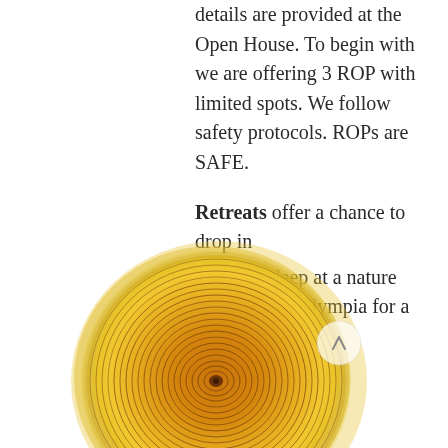details are provided at the Open House. To begin with we are offering 3 ROP with limited spots. We follow safety protocols. ROPs are SAFE.
Retreats offer a chance to drop in and drop deep at a nature sanctuary in Olympia for a day or weekend.
[Figure (illustration): Top-down view of a tree cross-section showing concentric growth rings. The center is a warm brown/orange with tight rings, surrounded by a golden-yellow liquid or resin, giving the appearance of a wooden disk in liquid.]